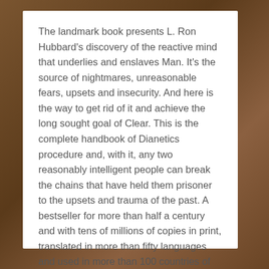The landmark book presents L. Ron Hubbard's discovery of the reactive mind that underlies and enslaves Man. It's the source of nightmares, unreasonable fears, upsets and insecurity. And here is the way to get rid of it and achieve the long sought goal of Clear. This is the complete handbook of Dianetics procedure and, with it, any two reasonably intelligent people can break the chains that have held them prisoner to the upsets and trauma of the past. A bestseller for more than half a century and with tens of millions of copies in print, translated in more than fifty languages and used in more than 100 countries of Earth, Dianetics is indisputably the most widely read and influential book about the human mind ever written.